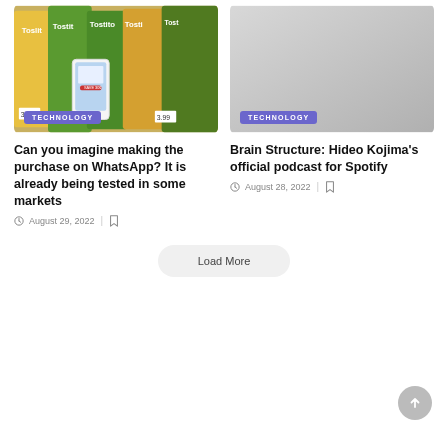[Figure (photo): Photo of Tostitos chip bags on a store shelf with a hand holding a smartphone showing a deal/coupon app]
TECHNOLOGY
Can you imagine making the purchase on WhatsApp? It is already being tested in some markets
August 29, 2022
[Figure (photo): Light gray placeholder image area for a technology article]
TECHNOLOGY
Brain Structure: Hideo Kojima's official podcast for Spotify
August 28, 2022
Load More